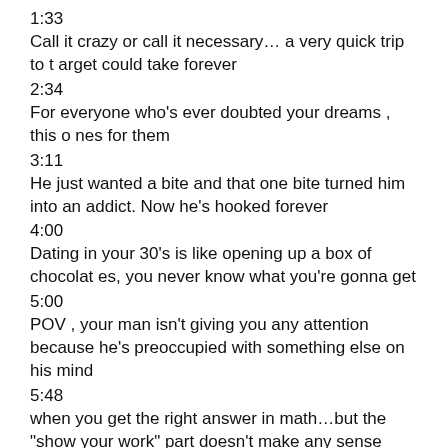1:33
Call it crazy or call it necessary… a very quick trip to target could take forever
2:34
For everyone who's ever doubted your dreams , this ones for them
3:11
He just wanted a bite and that one bite turned him into an addict. Now he's hooked forever
4:00
Dating in your 30's is like opening up a box of chocolates, you never know what you're gonna get
5:00
POV , your man isn't giving you any attention because he's preoccupied with something else on his mind
5:48
when you get the right answer in math…but the "show your work" part doesn't make any sense
6:41